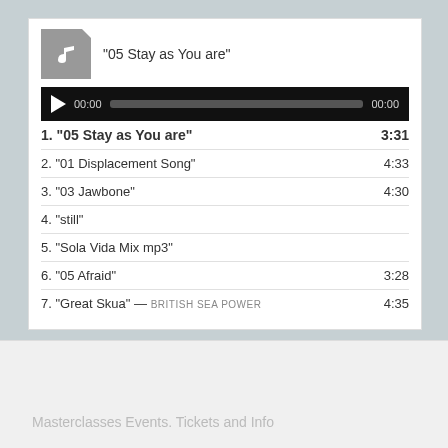[Figure (screenshot): Music player widget showing a grey music file icon and title '"05 Stay as You are"' with a black audio player bar showing play button, 00:00 timestamps, and a progress bar]
1. "05 Stay as You are" 3:31
2. "01 Displacement Song" 4:33
3. "03 Jawbone" 4:30
4. "still"
5. "Sola Vida Mix mp3"
6. "05 Afraid" 3:28
7. "Great Skua" — BRITISH SEA POWER 4:35
Masterclasses Events. Tickets and Info